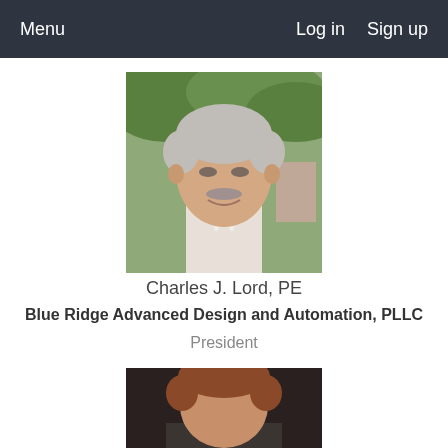Menu    Log in    Sign up
[Figure (photo): Headshot of Charles J. Lord, PE — an older man with grey hair and a white shirt, smiling outdoors with green foliage in background]
Charles J. Lord, PE
Blue Ridge Advanced Design and Automation, PLLC
President
[Figure (photo): Partial headshot of a second person — a man with reddish-brown hair against a dark background, cropped at bottom of page]